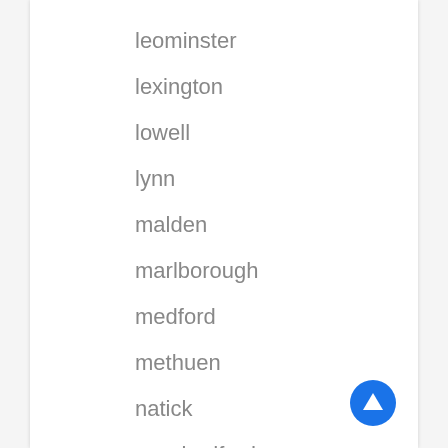leominster
lexington
lowell
lynn
malden
marlborough
medford
methuen
natick
new bedford
peabody
pittsfield
plymouth